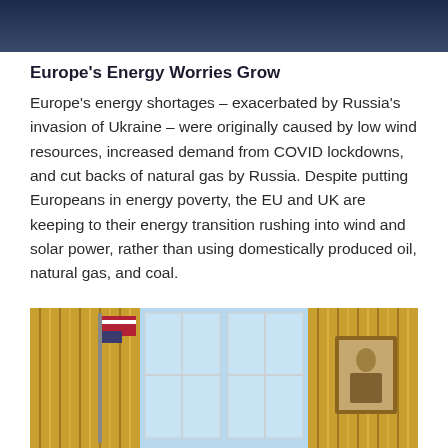[Figure (photo): Dark blue/navy image at top of page, partially visible, appears to be an outdoor or landscape scene]
Europe's Energy Worries Grow
Europe's energy shortages – exacerbated by Russia's invasion of Ukraine – were originally caused by low wind resources, increased demand from COVID lockdowns, and cut backs of natural gas by Russia. Despite putting Europeans in energy poverty, the EU and UK are keeping to their energy transition rushing into wind and solar power, rather than using domestically produced oil, natural gas, and coal.
[Figure (photo): Photo of what appears to be the Oval Office interior with gold/yellow curtains, American flag, window with natural light, and a portrait painting on the wall to the right]